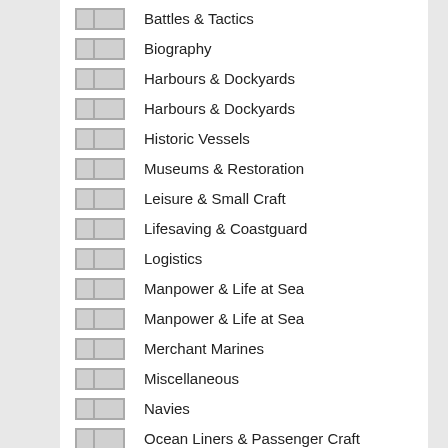Battles & Tactics
Biography
Harbours & Dockyards
Harbours & Dockyards
Historic Vessels
Museums & Restoration
Leisure & Small Craft
Lifesaving & Coastguard
Logistics
Manpower & Life at Sea
Manpower & Life at Sea
Merchant Marines
Miscellaneous
Navies
Ocean Liners & Passenger Craft
Pirates
Corsairs & Privateers